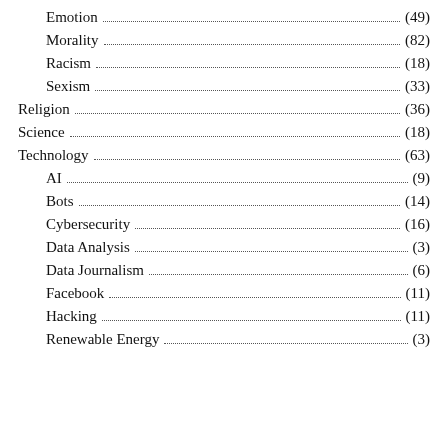Emotion (49)
Morality (82)
Racism (18)
Sexism (33)
Religion (36)
Science (18)
Technology (63)
AI (9)
Bots (14)
Cybersecurity (16)
Data Analysis (3)
Data Journalism (6)
Facebook (11)
Hacking (11)
Renewable Energy (3)